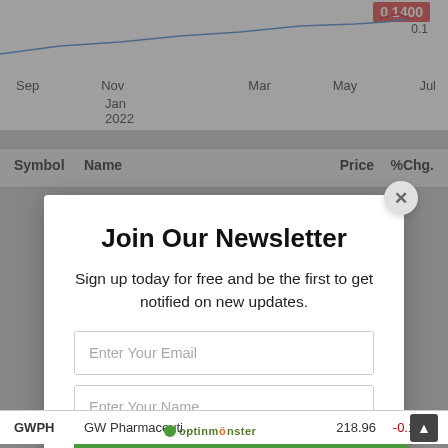[Figure (screenshot): Partial stock chart showing price line with 0.1400 price badge, time axis labels: Sep, Nov, Jan 2022, Mar, May, Jul]
| Symbol | Name | Price | %Chg. |
| --- | --- | --- | --- |
| GWPH | GW Pharmaceuti... | 218.96 | -0.15% |
Join Our Newsletter
Sign up today for free and be the first to get notified on new updates.
Enter Your Email
Enter Your Name
SUBSCRIBE
We do not sell or share your information with anyone.